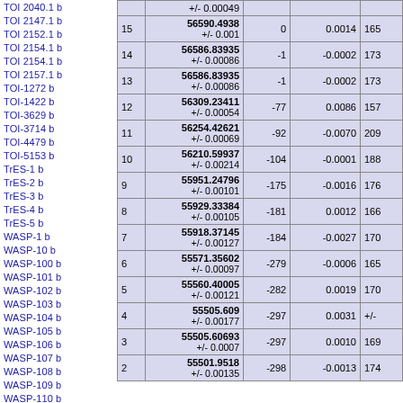TOI 2040.1 b
TOI 2147.1 b
TOI 2152.1 b
TOI 2154.1 b
TOI 2154.1 b
TOI 2157.1 b
TOI-1272 b
TOI-1422 b
TOI-3629 b
TOI-3714 b
TOI-4479 b
TOI-5153 b
TrES-1 b
TrES-2 b
TrES-3 b
TrES-4 b
TrES-5 b
WASP-1 b
WASP-10 b
WASP-100 b
WASP-101 b
WASP-102 b
WASP-103 b
WASP-104 b
WASP-105 b
WASP-106 b
WASP-107 b
WASP-108 b
WASP-109 b
WASP-110 b
WASP-111 b
WASP-112 b
WASP-113 b
WASP-114 b
| # | BJD |  |  |  |
| --- | --- | --- | --- | --- |
|  | +/- 0.00049 |  |  |  |
| 15 | 56590.4938 +/- 0.001 | 0 | 0.0014 | 165 |
| 14 | 56586.83935 +/- 0.00086 | -1 | -0.0002 | 173 |
| 13 | 56586.83935 +/- 0.00086 | -1 | -0.0002 | 173 |
| 12 | 56309.23411 +/- 0.00054 | -77 | 0.0086 | 157 |
| 11 | 56254.42621 +/- 0.00069 | -92 | -0.0070 | 209 |
| 10 | 56210.59937 +/- 0.00214 | -104 | -0.0001 | 188 |
| 9 | 55951.24796 +/- 0.00101 | -175 | -0.0016 | 176 |
| 8 | 55929.33384 +/- 0.00105 | -181 | 0.0012 | 166 |
| 7 | 55918.37145 +/- 0.00127 | -184 | -0.0027 | 170 |
| 6 | 55571.35602 +/- 0.00097 | -279 | -0.0006 | 165 |
| 5 | 55560.40005 +/- 0.00121 | -282 | 0.0019 | 170 |
| 4 | 55505.609 +/- 0.00177 | -297 | 0.0031 | +/- |
| 3 | 55505.60693 +/- 0.0007 | -297 | 0.0010 | 169 |
| 2 | 55501.9518 +/- 0.00135 | -298 | -0.0013 | 174 |